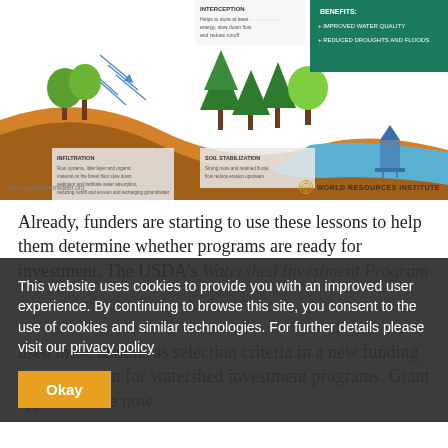[Figure (infographic): WRI watershed/forest infographic showing infiltration, soil stabilization, interception concepts with trees, water flow arrows, and benefits panel (Improved Water Quality, Reduced Droughts and Floods). World Resources Institute logo and www.goodstreamwater.org URL at bottom.]
Already, funders are starting to use these lessons to help them determine whether programs are ready for investment. The USDA's Watershed Investment Programs...
This website uses cookies to provide you with an improved user experience. By continuing to browse this site, you consent to the use of cookies and similar technologies. For further details please visit our privacy policy
...used these lessons as selection criteria in a new funding grant program for watershed investment programs. Grant applicants are now